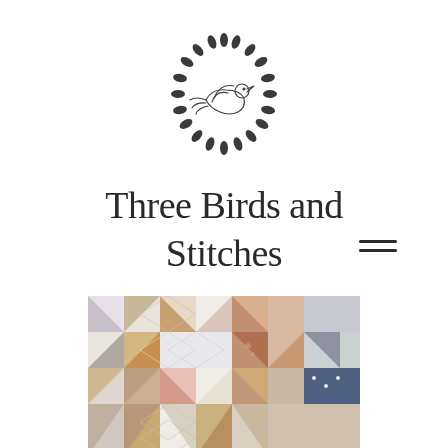[Figure (logo): Circular wreath logo with a bird/dove silhouette in the center, drawn in thin dark lines]
Three Birds and Stitches
[Figure (photo): Close-up photograph of a quilt with a patchwork pattern featuring earthy tones — browns, tans, dusty rose, ivory, and dark navy — with geometric triangles, squares, and quilted texture]